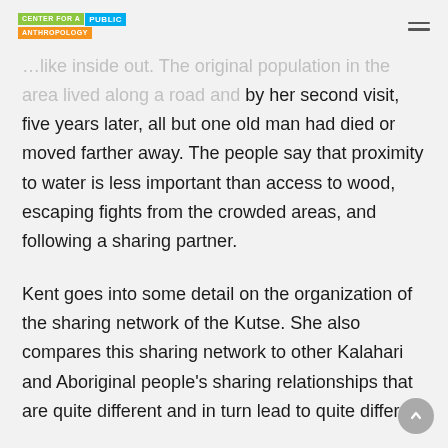CENTER FOR A PUBLIC ANTHROPOLOGY
…like inside out. The original population in the area lived along a road and by her second visit, five years later, all but one old man had died or moved farther away. The people say that proximity to water is less important than access to wood, escaping fights from the crowded areas, and following a sharing partner.
Kent goes into some detail on the organization of the sharing network of the Kutse. She also compares this sharing network to other Kalahari and Aboriginal people's sharing relationships that are quite different and in turn lead to quite different